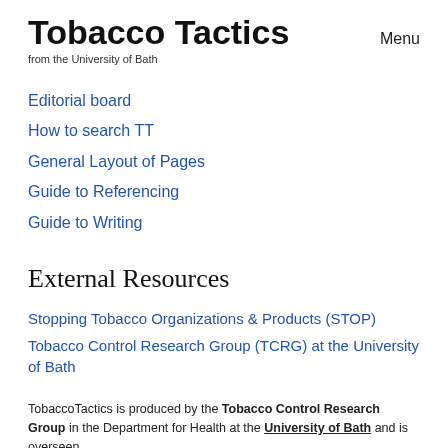Tobacco Tactics
from the University of Bath
Menu
Editorial board
How to search TT
General Layout of Pages
Guide to Referencing
Guide to Writing
External Resources
Stopping Tobacco Organizations & Products (STOP)
Tobacco Control Research Group (TCRG) at the University of Bath
TobaccoTactics is produced by the Tobacco Control Research Group in the Department for Health at the University of Bath and is overseen